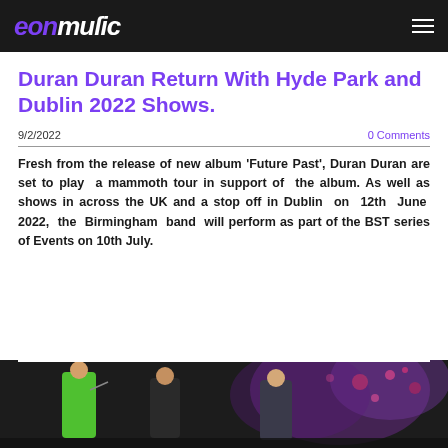eonmusic
Duran Duran Return With Hyde Park and Dublin 2022 Shows.
9/2/2022    0 Comments
Fresh from the release of new album 'Future Past', Duran Duran are set to play a mammoth tour in support of the album. As well as shows in across the UK and a stop off in Dublin on 12th June 2022, the Birmingham band will perform as part of the BST series of Events on 10th July.
[Figure (photo): Photo of Duran Duran band members performing on stage, one wearing a bright green jacket]